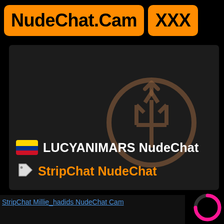NudeChat.Cam  XXX
[Figure (screenshot): Dark card with Colombian flag, username LUCYANIMARS NudeChat, tag icon with StripChat NudeChat label, and a brown Poseidon trident watermark circle]
StripChat Millie_hadids NudeChat Cam
[Figure (other): Pink loading spinner arc in bottom right corner]